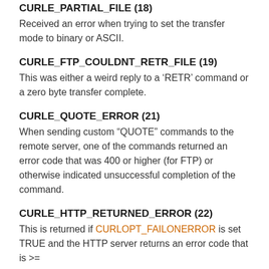CURLE_PARTIAL_FILE (18)
Received an error when trying to set the transfer mode to binary or ASCII.
CURLE_FTP_COULDNT_RETR_FILE (19)
This was either a weird reply to a ‘RETR’ command or a zero byte transfer complete.
CURLE_QUOTE_ERROR (21)
When sending custom “QUOTE” commands to the remote server, one of the commands returned an error code that was 400 or higher (for FTP) or otherwise indicated unsuccessful completion of the command.
CURLE_HTTP_RETURNED_ERROR (22)
This is returned if CURLOPT_FAILONERROR is set TRUE and the HTTP server returns an error code that is >=